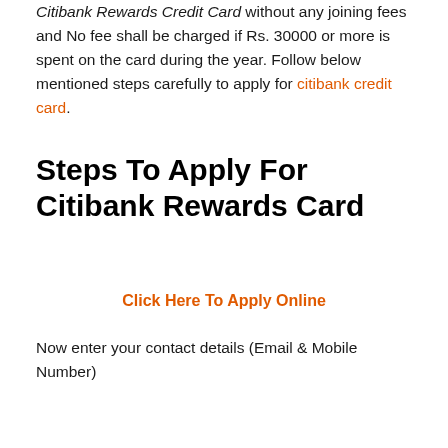Citibank Rewards Credit Card without any joining fees and No fee shall be charged if Rs. 30000 or more is spent on the card during the year. Follow below mentioned steps carefully to apply for citibank credit card.
Steps To Apply For Citibank Rewards Card
Click Here To Apply Online
Now enter your contact details (Email & Mobile Number)